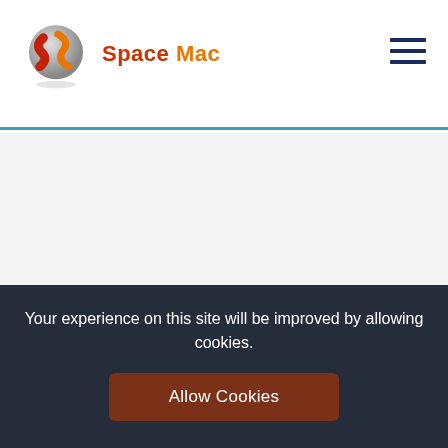Space Mac
Education & AI
Your experience on this site will be improved by allowing cookies.
Allow Cookies